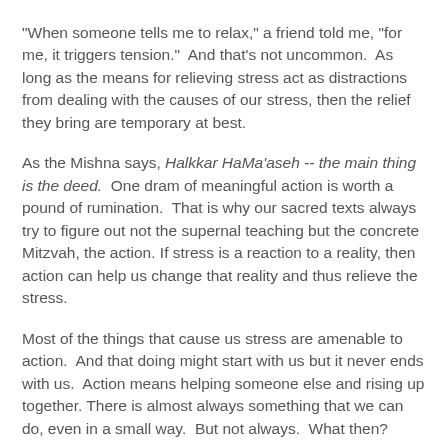"When someone tells me to relax," a friend told me, "for me, it triggers tension."  And that's not uncommon.  As long as the means for relieving stress act as distractions from dealing with the causes of our stress, then the relief they bring are temporary at best.
As the Mishna says, Halkkar HaMa'aseh -- the main thing is the deed.  One dram of meaningful action is worth a pound of rumination.  That is why our sacred texts always try to figure out not the supernal teaching but the concrete Mitzvah, the action. If stress is a reaction to a reality, then action can help us change that reality and thus relieve the stress.
Most of the things that cause us stress are amenable to action.  And that doing might start with us but it never ends with us.  Action means helping someone else and rising up together. There is almost always something that we can do, even in a small way.  But not always.  What then?
The other side of doing in Judaism is dialogue.  Doing and speaking. The Midrash tells us that to...